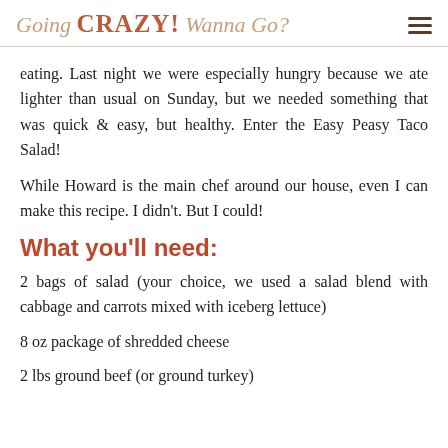Going CRAZY! Wanna Go?
eating. Last night we were especially hungry because we ate lighter than usual on Sunday, but we needed something that was quick & easy, but healthy. Enter the Easy Peasy Taco Salad!
While Howard is the main chef around our house, even I can make this recipe. I didn't. But I could!
What you'll need:
2 bags of salad (your choice, we used a salad blend with cabbage and carrots mixed with iceberg lettuce)
8 oz package of shredded cheese
2 lbs ground beef (or ground turkey)